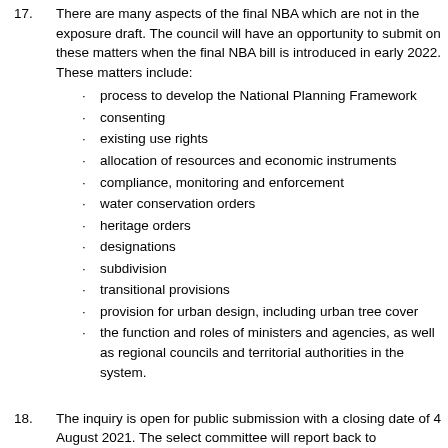17. There are many aspects of the final NBA which are not in the exposure draft. The council will have an opportunity to submit on these matters when the final NBA bill is introduced in early 2022. These matters include:
process to develop the National Planning Framework
consenting
existing use rights
allocation of resources and economic instruments
compliance, monitoring and enforcement
water conservation orders
heritage orders
designations
subdivision
transitional provisions
provision for urban design, including urban tree cover
the function and roles of ministers and agencies, as well as regional councils and territorial authorities in the system.
18. The inquiry is open for public submission with a closing date of 4 August 2021. The select committee will report back to